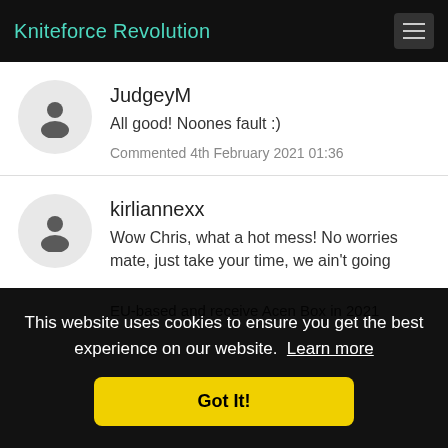Kniteforce Revolution
JudgeyM
All good! Noones fault :)
Commented 4th February 2021 01:36
kirliannexx
Wow Chris, what a hot mess! No worries mate, just take your time, we ain't going
This website uses cookies to ensure you get the best experience on our website. Learn more
Got It!
EU-based and receive Acen Box in 2021